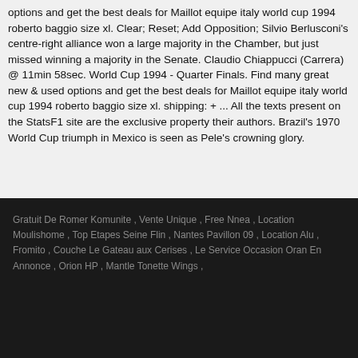options and get the best deals for Maillot equipe italy world cup 1994 roberto baggio size xl. Clear; Reset; Add Opposition; Silvio Berlusconi's centre-right alliance won a large majority in the Chamber, but just missed winning a majority in the Senate. Claudio Chiappucci (Carrera) @ 11min 58sec. World Cup 1994 - Quarter Finals. Find many great new & used options and get the best deals for Maillot equipe italy world cup 1994 roberto baggio size xl. shipping: + ... All the texts present on the StatsF1 site are the exclusive property their authors. Brazil's 1970 World Cup triumph in Mexico is seen as Pele's crowning glory.
Gratuit De Romer Komunite , Vente Unique , Free Nnea , Location Moulishome , Top Etapes Seine Flin , Nantes Pavillon 09 , Location Alu , Fromito , Couche Le Gateau aux Cerises , Le Service Occasion Oran En Annonce , Orion HP , Mantle Tonette Wings ,